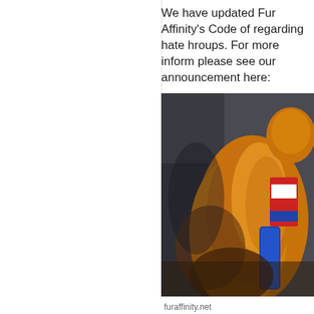We have updated Fur Affinity's Code of regarding hate hroups. For more inform please see our announcement here:
[Figure (photo): A fursuit costume photo showing a golden/orange fursuit character with blue and red accessories, wearing what appears to be a patriotic or decorative outfit, photographed against a dark background.]
furaffinity.net
5/15/18 - Fur Affinity COC 2.7 Updated -- Fender's J
As the international community comes together in s Affinity has also evolved to strengthen and protect c